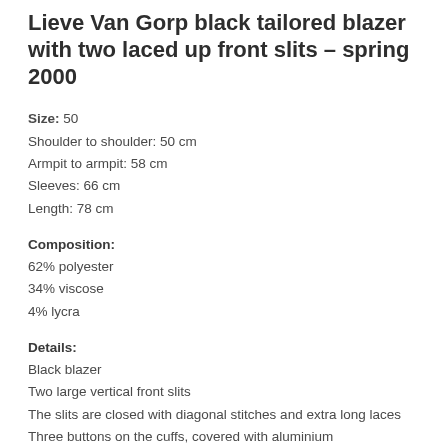Lieve Van Gorp black tailored blazer with two laced up front slits – spring 2000
Size: 50
Shoulder to shoulder: 50 cm
Armpit to armpit: 58 cm
Sleeves: 66 cm
Length: 78 cm
Composition:
62% polyester
34% viscose
4% lycra
Details:
Black blazer
Two large vertical front slits
The slits are closed with diagonal stitches and extra long laces
Three buttons on the cuffs, covered with aluminium
Tailored model